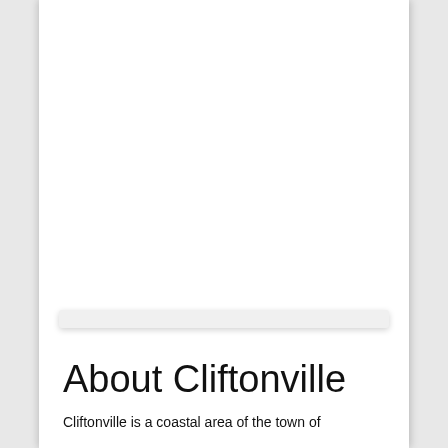About Cliftonville
Cliftonville is a coastal area of the town of